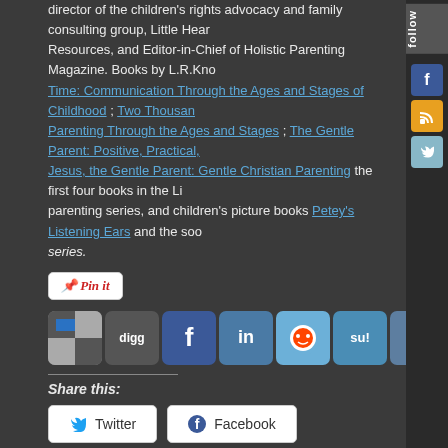director of the children's rights advocacy and family consulting group, Little Hear... Resources, and Editor-in-Chief of Holistic Parenting Magazine. Books by L.R.Kno... Time: Communication Through the Ages and Stages of Childhood ; Two Thousan... Parenting Through the Ages and Stages ; The Gentle Parent: Positive, Practical... Jesus, the Gentle Parent: Gentle Christian Parenting the first four books in the Li... parenting series, and children's picture books Petey's Listening Ears and the soo... series.
[Figure (screenshot): Pinterest pin button and social media sharing icons row including Digg, Facebook, LinkedIn, Reddit, StumbleUpon, Tumblr, Twitter, RSS, Print, Favorites, and more]
Share this:
[Figure (screenshot): Twitter and Facebook share buttons]
This entry was posted on November 20, 2011. It was filed under attachment parenting, babywearing, breastfeeding, parenting, newborn and was tagged with attachment parenting, babywearing, breastfeeding, Christian, Christian p... gentle parenting, natural parenting, newborn, positive parenting.
←
35 Responses